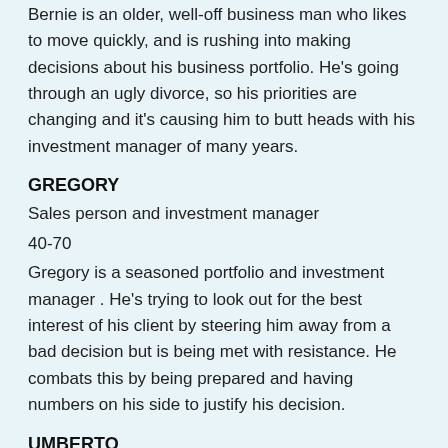Bernie is an older, well-off business man who likes to move quickly, and is rushing into making decisions about his business portfolio. He's going through an ugly divorce, so his priorities are changing and it's causing him to butt heads with his investment manager of many years.
GREGORY
Sales person and investment manager
40-70
Gregory is a seasoned portfolio and investment manager . He's trying to look out for the best interest of his client by steering him away from a bad decision but is being met with resistance. He combats this by being prepared and having numbers on his side to justify his decision.
UMBERTO
30-40
Umberto is a new real estate investor. He is a cool and collected character. He seems inexperienced at first, but he tends keeps things to himself. Umberto knows a good deal when he sees it and doesn't hesitate going for it.